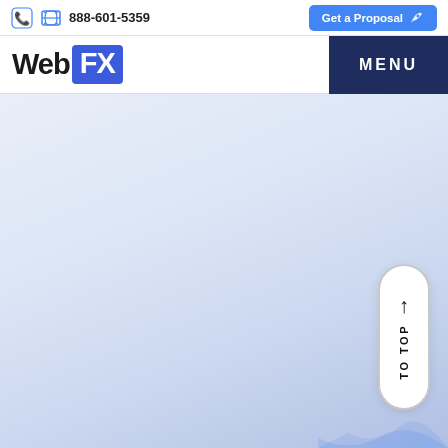888-601-5359  Get a Proposal
[Figure (logo): WebFX logo with Web in black and FX in white on blue background, with MENU button on the right]
[Figure (illustration): Light blue gradient background with a 'TO TOP' scroll button on the right side featuring an upward arrow, and a decorative wave shape in the bottom right corner]